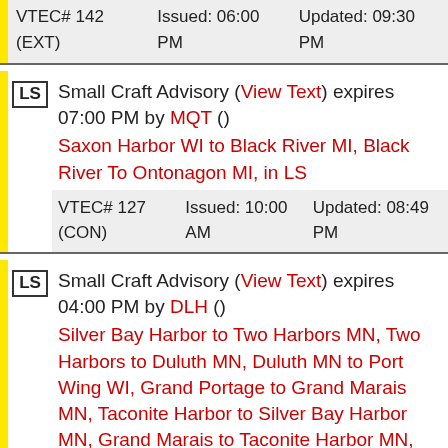VTEC# 142 (EXT)  Issued: 06:00 PM  Updated: 09:30 PM
Small Craft Advisory (View Text) expires 07:00 PM by MQT () Saxon Harbor WI to Black River MI, Black River To Ontonagon MI, in LS
VTEC# 127 (CON)  Issued: 10:00 AM  Updated: 08:49 PM
Small Craft Advisory (View Text) expires 04:00 PM by DLH () Silver Bay Harbor to Two Harbors MN, Two Harbors to Duluth MN, Duluth MN to Port Wing WI, Grand Portage to Grand Marais MN, Taconite Harbor to Silver Bay Harbor MN, Grand Marais to Taconite Harbor MN, Sand Island to Bayfield WI, Port Wing to Sand Island WI, Chequamegon Bay-Bayfield to Oak Point WI, Oak Point to Saxon